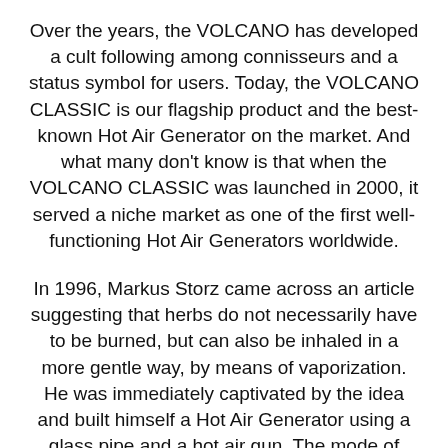Over the years, the VOLCANO has developed a cult following among connisseurs and a status symbol for users. Today, the VOLCANO CLASSIC is our flagship product and the best-known Hot Air Generator on the market. And what many don't know is that when the VOLCANO CLASSIC was launched in 2000, it served a niche market as one of the first well-functioning Hot Air Generators worldwide.
In 1996, Markus Storz came across an article suggesting that herbs do not necessarily have to be burned, but can also be inhaled in a more gentle way, by means of vaporization. He was immediately captivated by the idea and built himself a Hot Air Generator using a glass pipe and a hot air gun. The mode of operation convinced him